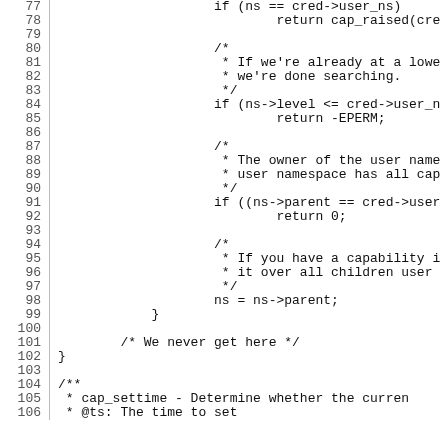Source code listing lines 77-106, C kernel code showing capability checking logic
77:     if (ns == cred->user_ns)
78:             return cap_raised(cre
79:
80:             /*
81:              * If we're already at a lowe
82:              * we're done searching.
83:              */
84:             if (ns->level <= cred->user_n
85:                     return -EPERM;
86:
87:             /*
88:              * The owner of the user name
89:              * user namespace has all cap
90:              */
91:             if ((ns->parent == cred->user
92:                     return 0;
93:
94:             /*
95:              * If you have a capability i
96:              * it over all children user
97:              */
98:             ns = ns->parent;
99:     }
100:
101:         /* We never get here */
102: }
103:
104: /**
105:  * cap_settime - Determine whether the curren
106:  * @ts: The time to set